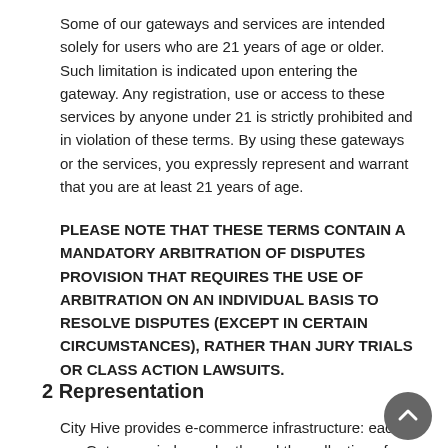Some of our gateways and services are intended solely for users who are 21 years of age or older. Such limitation is indicated upon entering the gateway. Any registration, use or access to these services by anyone under 21 is strictly prohibited and in violation of these terms. By using these gateways or the services, you expressly represent and warrant that you are at least 21 years of age.
PLEASE NOTE THAT THESE TERMS CONTAIN A MANDATORY ARBITRATION OF DISPUTES PROVISION THAT REQUIRES THE USE OF ARBITRATION ON AN INDIVIDUAL BASIS TO RESOLVE DISPUTES (EXCEPT IN CERTAIN CIRCUMSTANCES), RATHER THAN JURY TRIALS OR CLASS ACTION LAWSUITS.
2 Representation
City Hive provides e-commerce infrastructure: each of our Gateways independently and the collection of